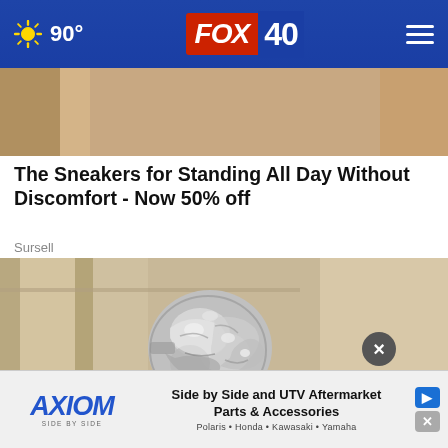FOX 40 | 90°
[Figure (photo): Partial top edge of article image, showing pinkish-tan background tones]
The Sneakers for Standing All Day Without Discomfort - Now 50% off
Sursell
[Figure (photo): Close-up photo of a door knob covered in crumpled aluminum foil, against a beige/tan door]
[Figure (other): Advertisement: AXIOM Side by Side - Side by Side and UTV Aftermarket Parts & Accessories - Polaris • Honda • Kawasaki • Yamaha]